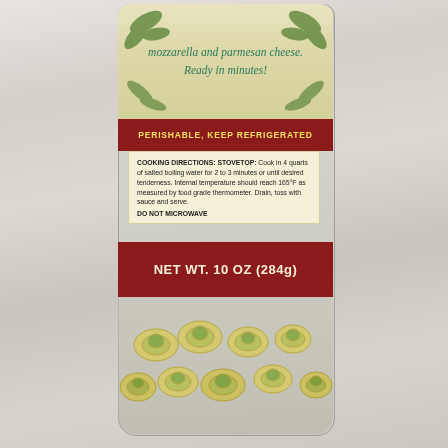[Figure (photo): Food product packaging photo: A package of tortellini pasta on a whitewashed wood surface. The package label shows text in script reading 'mozzarella and parmesan cheese. Ready in minutes!' with decorative leaf motifs on a cream/yellow-green background. A dark red banner reads 'PERISHABLE, KEEP REFRIGERATED'. Below is a cream-colored cooking directions box. Another dark red section shows 'NET WT. 10 OZ (284g)'. The lower transparent portion of the package shows fresh tortellini pasta pieces.]